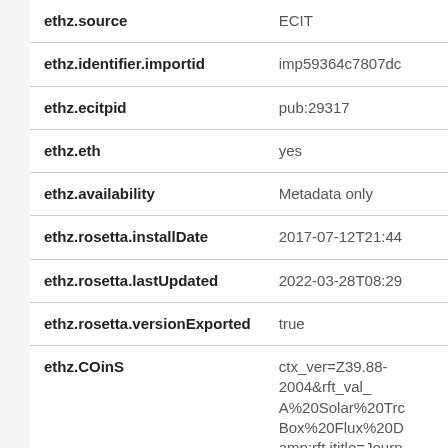| Field | Value |
| --- | --- |
| ethz.source | ECIT |
| ethz.identifier.importid | imp59364c7807dc |
| ethz.ecitpid | pub:29317 |
| ethz.eth | yes |
| ethz.availability | Metadata only |
| ethz.rosetta.installDate | 2017-07-12T21:44 |
| ethz.rosetta.lastUpdated | 2022-03-28T08:29 |
| ethz.rosetta.versionExported | true |
| ethz.COinS | ctx_ver=Z39.88-2004&amp;rft_val_A%20Solar%20Trc Box%20Flux%20D amp;rft.jtitle=Journ &amp;rft.date=201 ft.spage=014501& |